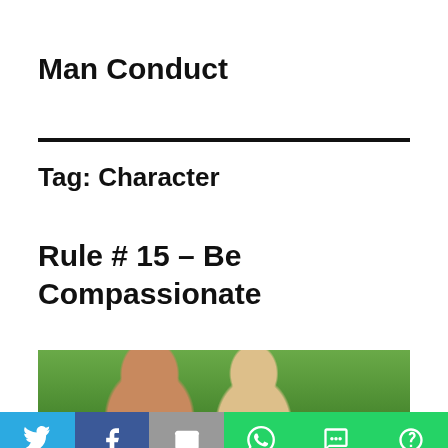Man Conduct
Tag: Character
Rule # 15 – Be Compassionate
[Figure (photo): Partial top view of two people outdoors, bokeh green background]
[Figure (infographic): Social share bar with icons for Twitter, Facebook, Email, WhatsApp, SMS, and More]